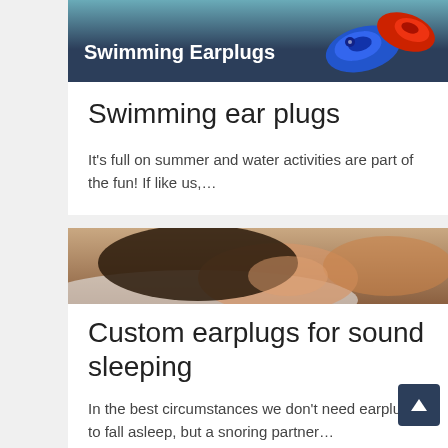[Figure (photo): Banner image for swimming earplugs article showing beach background with blue and red silicone earplugs, dark blue background, white bold text 'Swimming Earplugs']
Swimming ear plugs
It's full on summer and water activities are part of the fun! If like us,…
[Figure (photo): Photo of a woman with dark hair sleeping peacefully on a white pillow]
Custom earplugs for sound sleeping
In the best circumstances we don't need earplugs to fall asleep, but a snoring partner…